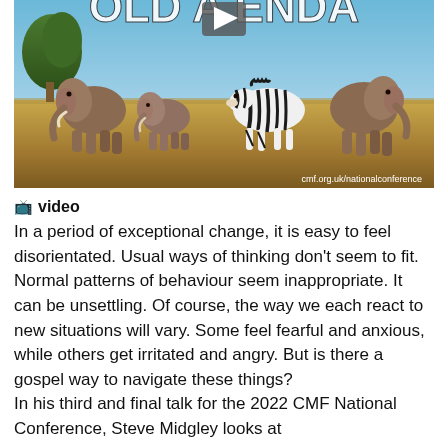[Figure (photo): A wildlife photo banner showing elephants and a zebra on an African savanna with blue sky. Overlaid text reads 'OLD AGENDA' in large white bold uppercase letters with a video play button icon. Bottom right shows URL: cmf.org.uk/nationalconference]
📺 video
In a period of exceptional change, it is easy to feel disorientated. Usual ways of thinking don't seem to fit. Normal patterns of behaviour seem inappropriate. It can be unsettling. Of course, the way we each react to new situations will vary. Some feel fearful and anxious, while others get irritated and angry. But is there a gospel way to navigate these things?
In his third and final talk for the 2022 CMF National Conference, Steve Midgley looks at